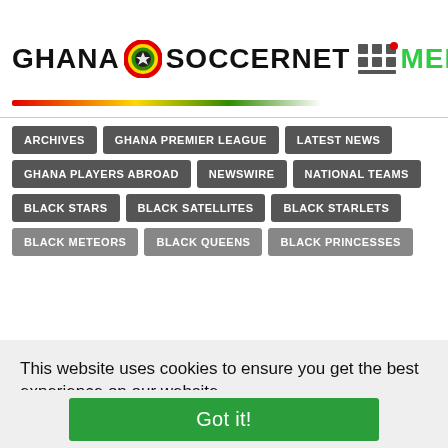GHANA SOCCERNET MENU
ARCHIVES
GHANA PREMIER LEAGUE
LATEST NEWS
GHANA PLAYERS ABROAD
NEWSWIRE
NATIONAL TEAMS
BLACK STARS
BLACK SATELLITES
BLACK STARLETS
BLACK METEORS
BLACK QUEENS
BLACK PRINCESSES
This website uses cookies to ensure you get the best experience on our website.
Learn more
Got it!